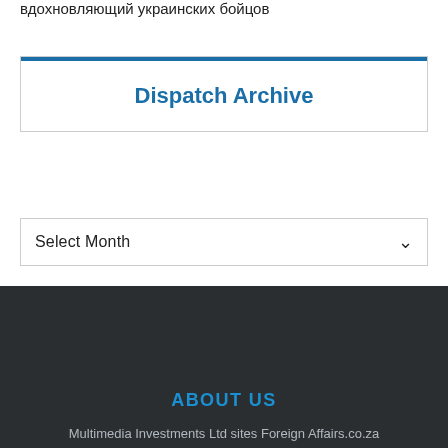вдохновляющий украинских бойцов
Dispatch Archive
Select Month
ABOUT US
Multimedia Investments Ltd sites Foreign Affairs.co.za